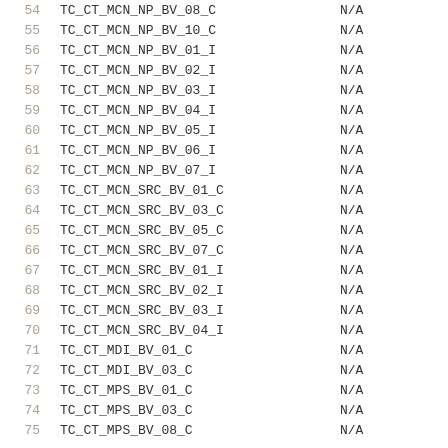| # | Name | Value |
| --- | --- | --- |
| 54 | TC_CT_MCN_NP_BV_08_C | N/A |
| 55 | TC_CT_MCN_NP_BV_10_C | N/A |
| 56 | TC_CT_MCN_NP_BV_01_I | N/A |
| 57 | TC_CT_MCN_NP_BV_02_I | N/A |
| 58 | TC_CT_MCN_NP_BV_03_I | N/A |
| 59 | TC_CT_MCN_NP_BV_04_I | N/A |
| 60 | TC_CT_MCN_NP_BV_05_I | N/A |
| 61 | TC_CT_MCN_NP_BV_06_I | N/A |
| 62 | TC_CT_MCN_NP_BV_07_I | N/A |
| 63 | TC_CT_MCN_SRC_BV_01_C | N/A |
| 64 | TC_CT_MCN_SRC_BV_03_C | N/A |
| 65 | TC_CT_MCN_SRC_BV_05_C | N/A |
| 66 | TC_CT_MCN_SRC_BV_07_C | N/A |
| 67 | TC_CT_MCN_SRC_BV_01_I | N/A |
| 68 | TC_CT_MCN_SRC_BV_02_I | N/A |
| 69 | TC_CT_MCN_SRC_BV_03_I | N/A |
| 70 | TC_CT_MCN_SRC_BV_04_I | N/A |
| 71 | TC_CT_MDI_BV_01_C | N/A |
| 72 | TC_CT_MDI_BV_03_C | N/A |
| 73 | TC_CT_MPS_BV_01_C | N/A |
| 74 | TC_CT_MPS_BV_03_C | N/A |
| 75 | TC_CT_MPS_BV_08_C | N/A |